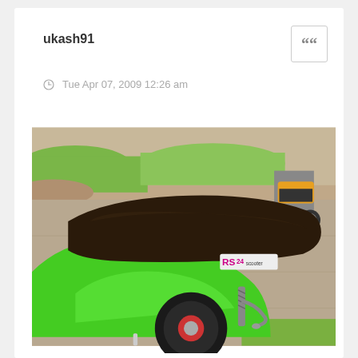ukash91
Tue Apr 07, 2009 12:26 am
[Figure (photo): Green scooter (RS24 branded) parked on a concrete surface, showing the rear seat and body. Another small motorcycle visible in the background on the right. Grass and dirt area visible in the background.]